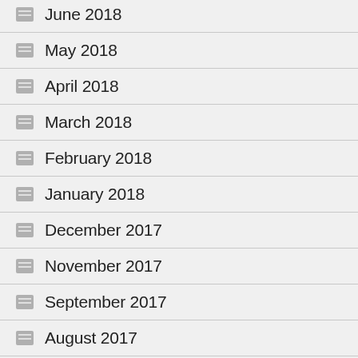June 2018
May 2018
April 2018
March 2018
February 2018
January 2018
December 2017
November 2017
September 2017
August 2017